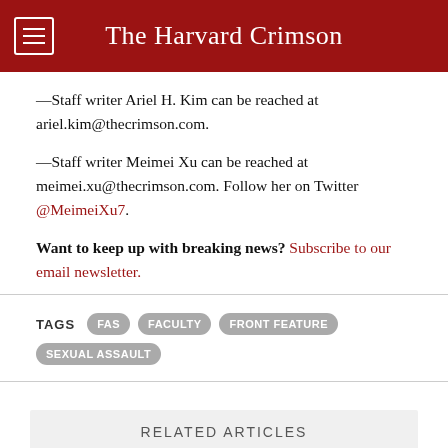The Harvard Crimson
—Staff writer Ariel H. Kim can be reached at ariel.kim@thecrimson.com.
—Staff writer Meimei Xu can be reached at meimei.xu@thecrimson.com. Follow her on Twitter @MeimeiXu7.
Want to keep up with breaking news? Subscribe to our email newsletter.
TAGS  FAS  FACULTY  FRONT FEATURE  SEXUAL ASSAULT
RELATED ARTICLES
Faculty Survey 3